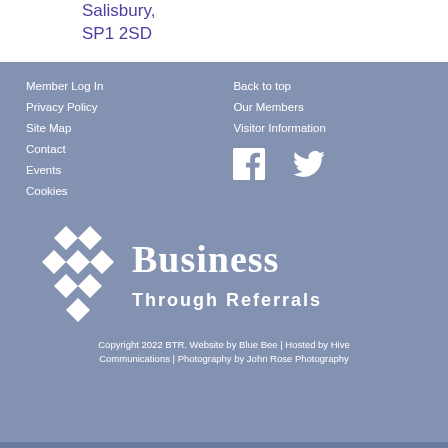Salisbury,
SP1 2SD
Member Log In
Privacy Policy
Site Map
Contact
Events
Cookies
Back to top
Our Members
Visitor Information
[Figure (logo): Business Through Referrals logo with geometric diamond pattern and white text]
Copyright 2022 BTR. Website by Blue Bee | Hosted by Hive Communications | Photography by John Rose Photography